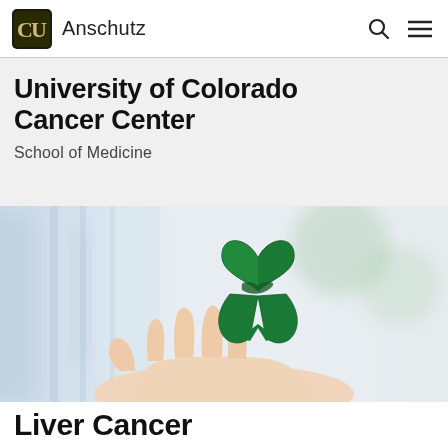CU Anschutz
University of Colorado Cancer Center
School of Medicine
[Figure (photo): A person's hand holding a green awareness ribbon against a blurred light background, symbolizing liver cancer awareness.]
Liver Cancer